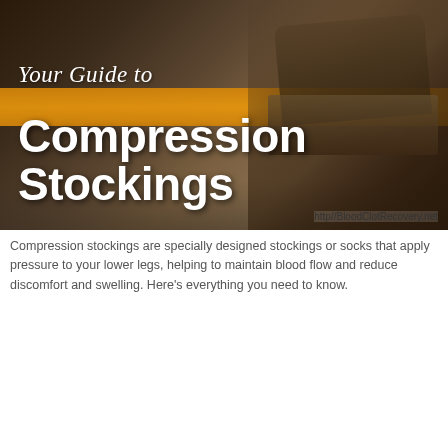[Figure (infographic): Top half infographic panel showing a photo of feet/shoes on stairs with an orange horizontal stripe. White italic script text reads 'Your Guide to' and large bold white text reads 'Compression Stockings'. URL 'http//BloodClotRecovery.net' appears in bottom right of the image area.]
Compression stockings are specially designed stockings or socks that apply pressure to your lower legs, helping to maintain blood flow and reduce discomfort and swelling. Here's everything you need to know.
[Figure (infographic): Bottom half infographic panel with dark bokeh background (blurred lights on dark background). Large bold white text reads 'In Defense of the ER'.]